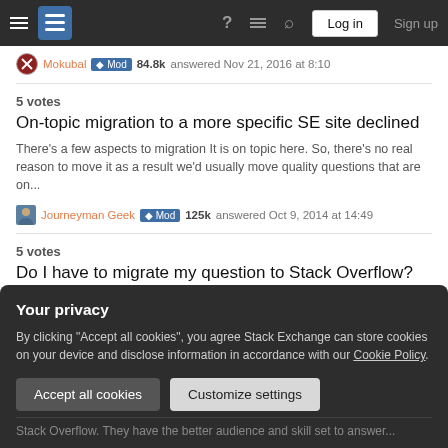Stack Exchange navigation bar with Log in and Sign up buttons
Mokubal ◆ Mod 84.8k answered Nov 21, 2016 at 8:10
5 votes
On-topic migration to a more specific SE site declined
There's a few aspects to migration It is on topic here. So, there's no real reason to move it as a result we'd usually move quality questions that are on...
Journeyman Geek ◆ Mod 125k answered Oct 9, 2014 at 14:49
5 votes
Do I have to migrate my question to Stack Overflow?
No, AutoHotKey is a scripting language and is thus pretty well on-topic for Super User. However, what you're trying to do, and the way you're going abo...
Your privacy
By clicking "Accept all cookies", you agree Stack Exchange can store cookies on your device and disclose information in accordance with our Cookie Policy.
Accept all cookies
Customize settings
Stack Overflow. They have the better audience and skill set to answer...